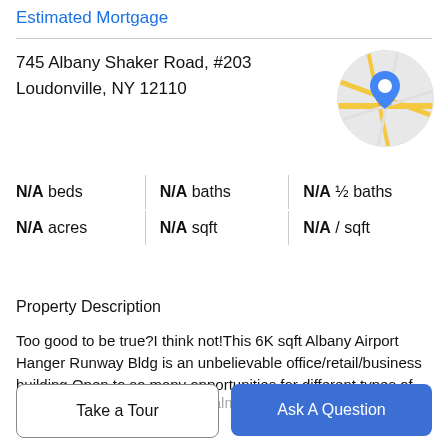Estimated Mortgage
745 Albany Shaker Road, #203
Loudonville, NY 12110
[Figure (map): Circular map thumbnail showing a location pin on a road map near Loudonville, NY]
| N/A beds | N/A baths | N/A ½ baths |
| N/A acres | N/A sqft | N/A / sqft |
Property Description
Too good to be true?I think not!This 6K sqft Albany Airport Hanger Runway Bldg is an unbelievable office/retail/business building.Open to so many opportunities for different types of businesses.Zoned commercial light industrial so almost anything can enter...
Take a Tour
Ask A Question